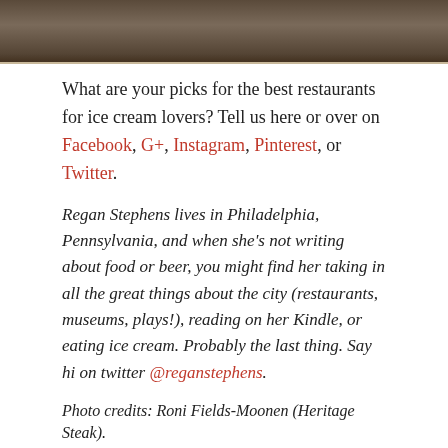[Figure (photo): Cropped photo strip showing a close-up of a surface, brown and textured, appearing to be stone or food.]
What are your picks for the best restaurants for ice cream lovers? Tell us here or over on Facebook, G+, Instagram, Pinterest, or Twitter.
Regan Stephens lives in Philadelphia, Pennsylvania, and when she's not writing about food or beer, you might find her taking in all the great things about the city (restaurants, museums, plays!), reading on her Kindle, or eating ice cream. Probably the last thing. Say hi on twitter @reganstephens.
Photo credits: Roni Fields-Moonen (Heritage Steak).
[Figure (other): Row of three social media icons: Facebook (dark blue), Twitter (light blue), LinkedIn (teal/blue).]